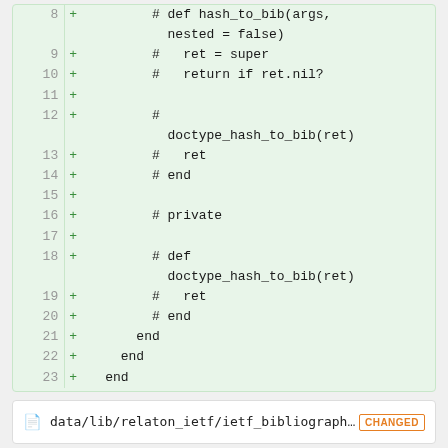[Figure (screenshot): A code diff view showing lines 8-23 with green background indicating added lines. Each line has a line number, a '+' marker, and code content showing commented-out Ruby methods including hash_to_bib, doctype_hash_to_bib, private, ret, end keywords.]
data/lib/relaton_ietf/ietf_bibliographic_ite... CHANGED